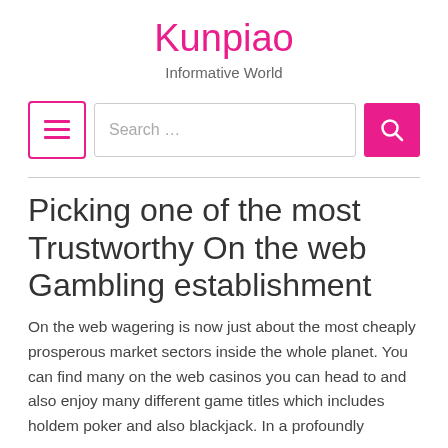Kunpiao
Informative World
Picking one of the most Trustworthy On the web Gambling establishment
On the web wagering is now just about the most cheaply prosperous market sectors inside the whole planet. You can find many on the web casinos you can head to and also enjoy many different game titles which includes holdem poker and also blackjack. In a profoundly